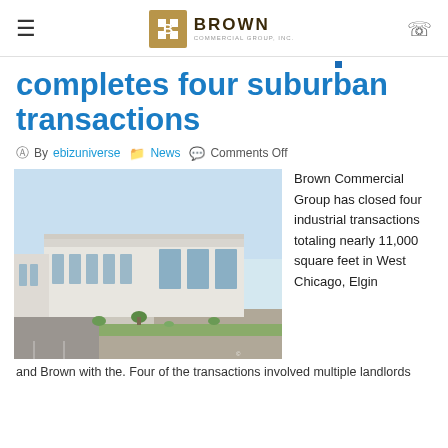Brown Commercial Group Inc.
completes four suburban transactions
By ebizuniverse  News  Comments Off
[Figure (photo): Exterior photo of a modern white industrial warehouse building with windows, parking lot, and green landscaping under a clear sky]
Brown Commercial Group has closed four industrial transactions totaling nearly 11,000 square feet in West Chicago, Elgin
and Brown with the. Four of the transactions involved multiple landlords